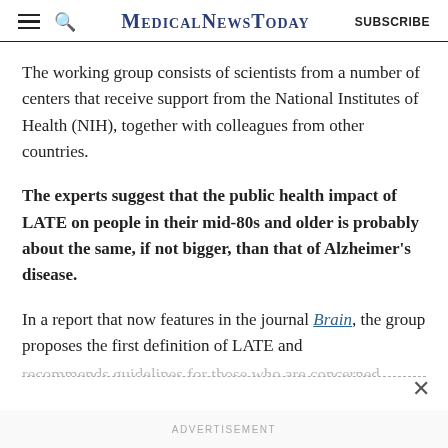MedicalNewsToday  SUBSCRIBE
The working group consists of scientists from a number of centers that receive support from the National Institutes of Health (NIH), together with colleagues from other countries.
The experts suggest that the public health impact of LATE on people in their mid-80s and older is probably about the same, if not bigger, than that of Alzheimer's disease.
In a report that now features in the journal Brain, the group proposes the first definition of LATE and recommends guidelines for those who are concerned